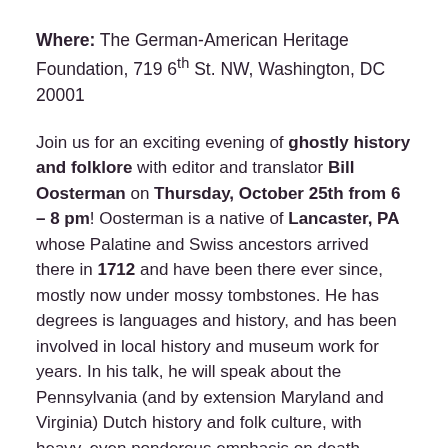Where: The German-American Heritage Foundation, 719 6th St. NW, Washington, DC 20001
Join us for an exciting evening of ghostly history and folklore with editor and translator Bill Oosterman on Thursday, October 25th from 6 – 8 pm! Oosterman is a native of Lancaster, PA whose Palatine and Swiss ancestors arrived there in 1712 and have been there ever since, mostly now under mossy tombstones. He has degrees is languages and history, and has been involved in local history and museum work for years. In his talk, he will speak about the Pennsylvania (and by extension Maryland and Virginia) Dutch history and folk culture, with heavy, even ponderous emphasis on death, funerals, graves, graveyards, and ghosts and ghost stories. His lecture will span from common tales that you may be surprised to find have German origins